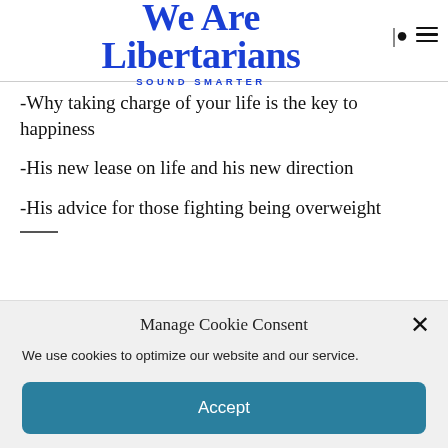We Are Libertarians — SOUND SMARTER
-Why taking charge of your life is the key to happiness
-His new lease on life and his new direction
-His advice for those fighting being overweight
Manage Cookie Consent
We use cookies to optimize our website and our service.
Accept